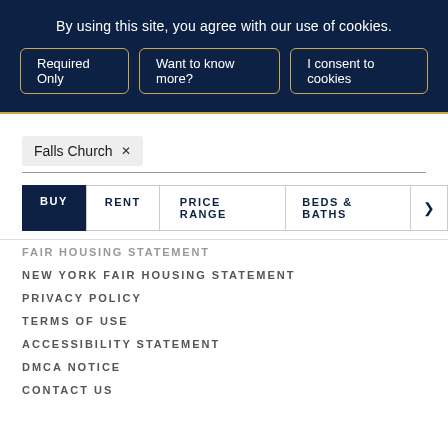By using this site, you agree with our use of cookies.
Required Only | Want to know more? | I consent to cookies
Falls Church ×
BUY  RENT  PRICE RANGE  BEDS & BATHS  >
FAIR HOUSING STATEMENT
NEW YORK FAIR HOUSING STATEMENT
PRIVACY POLICY
TERMS OF USE
ACCESSIBILITY STATEMENT
DMCA NOTICE
CONTACT US